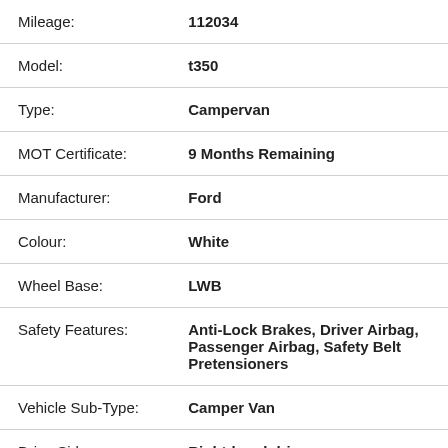| Field | Value |
| --- | --- |
| Mileage: | 112034 |
| Model: | t350 |
| Type: | Campervan |
| MOT Certificate: | 9 Months Remaining |
| Manufacturer: | Ford |
| Colour: | White |
| Wheel Base: | LWB |
| Safety Features: | Anti-Lock Brakes, Driver Airbag, Passenger Airbag, Safety Belt Pretensioners |
| Vehicle Sub-Type: | Camper Van |
| Drive Side: | Right-hand drive |